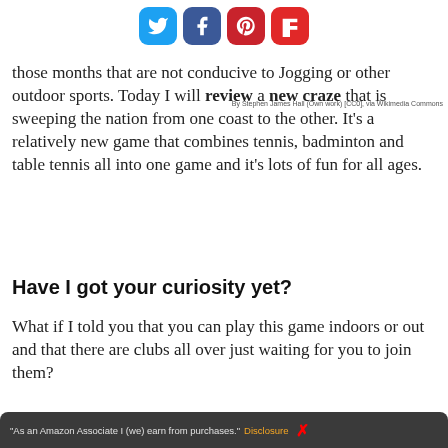[Figure (other): Social sharing icons bar: Twitter (blue), Facebook (dark blue), Pinterest (red), Flipboard (red)]
By Stephen James Hall (Own work) [CC0], via Wikimedia Commons
those months that are not conducive to Jogging or other outdoor sports. Today I will review a new craze that is sweeping the nation from one coast to the other. It's a relatively new game that combines tennis, badminton and table tennis all into one game and it's lots of fun for all ages.
Have I got your curiosity yet?
What if I told you that you can play this game indoors or out and that there are clubs all over just waiting for you to join them?
"As an Amazon Associate I (we) earn from purchases." Disclosure ✕